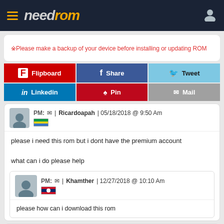needrom
※Please make a backup of your device before installing or updating ROM
[Figure (infographic): Social share buttons: Flipboard, Share (Facebook), Tweet (Twitter), Linkedin, Pin (Pinterest), Mail]
PM: [mail icon] | Ricardoapah | 05/18/2018 @ 9:50 Am
please i need this rom but i dont have the premium account

what can i do please help
PM: [mail icon] | Khamther | 12/27/2018 @ 10:10 Am
please how can i download this rom
PM: [mail icon] | Khamther | 12/27/2018 @ 10:08 Am